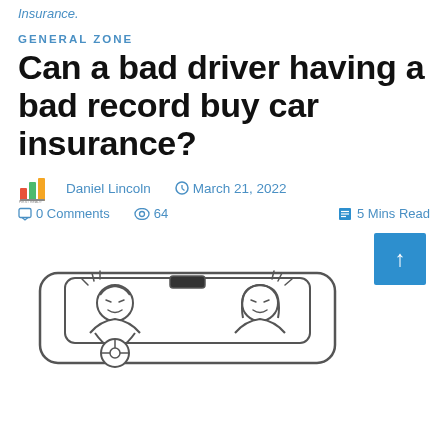Insurance.
GENERAL ZONE
Can a bad driver having a bad record buy car insurance?
Daniel Lincoln   March 21, 2022
0 Comments   64   5 Mins Read
[Figure (illustration): Cartoon illustration of two distressed people in a car viewed from the front windshield, with stress lines drawn around them indicating conflict or anxiety while driving.]